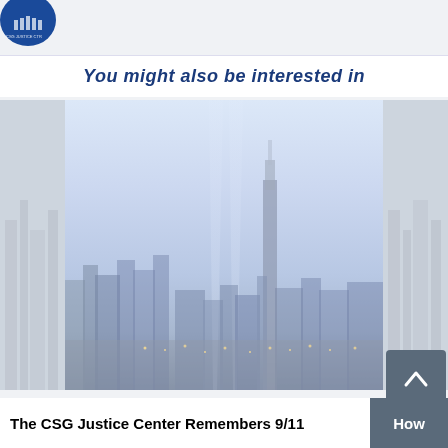[Figure (logo): CSG Justice Center circular logo, blue, with building/seal graphic]
You might also be interested in
[Figure (photo): Night skyline photo of New York City showing two faint beams of light rising from the city, representing the 9/11 Tribute in Light memorial, taken at dusk/night with city lights visible]
The CSG Justice Center Remembers 9/11
How